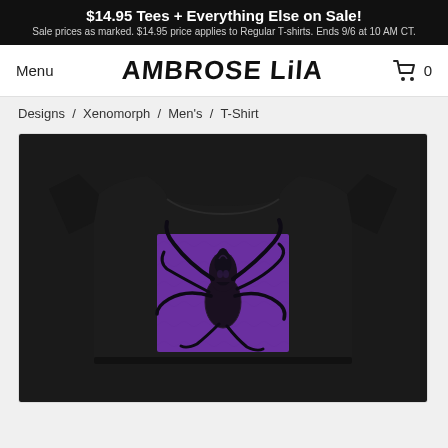$14.95 Tees + Everything Else on Sale! Sale prices as marked. $14.95 price applies to Regular T-shirts. Ends 9/6 at 10 AM CT.
Menu
AMBROSE Lili
0
Designs / Xenomorph / Men's / T-Shirt
[Figure (photo): Black t-shirt with a xenomorph alien creature illustration on a purple square background, displayed as a product photo]